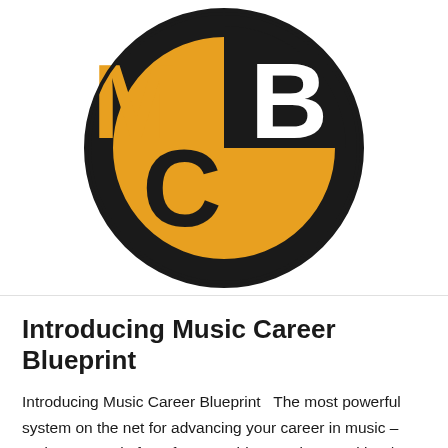[Figure (logo): MCB (Music Career Blueprint) logo: a circular badge with orange/amber background and thick black border. Inside the circle are large bold letters M, C, B arranged with M and C on the left/bottom and B on the upper right in white. The letters overlap with the circular band dividing the logo into sections.]
Introducing Music Career Blueprint
Introducing Music Career Blueprint   The most powerful system on the net for advancing your career in music –  and our new platform for everything music consulting / artist development related, including one-